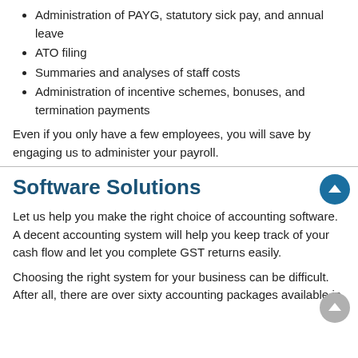Administration of PAYG, statutory sick pay, and annual leave
ATO filing
Summaries and analyses of staff costs
Administration of incentive schemes, bonuses, and termination payments
Even if you only have a few employees, you will save by engaging us to administer your payroll.
Software Solutions
Let us help you make the right choice of accounting software. A decent accounting system will help you keep track of your cash flow and let you complete GST returns easily.
Choosing the right system for your business can be difficult. After all, there are over sixty accounting packages available in